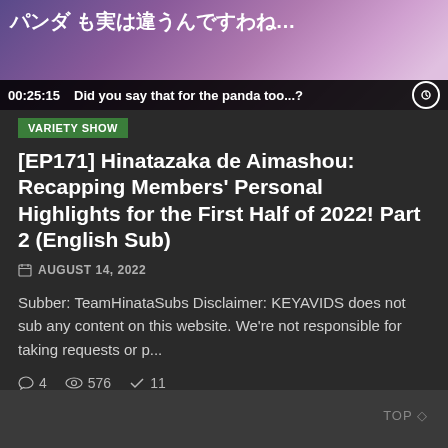[Figure (screenshot): Video thumbnail showing Japanese text and anime-style graphics with a video player bar at the bottom showing timestamp 00:25:15 and subtitle 'Did you say that for the panda too...?']
VARIETY SHOW
[EP171] Hinatazaka de Aimashou: Recapping Members' Personal Highlights for the First Half of 2022! Part 2 (English Sub)
AUGUST 14, 2022
Subber: TeamHinataSubs Disclaimer: KEYAVIDS does not sub any content on this website. We're not responsible for taking requests or p...
4  576  11